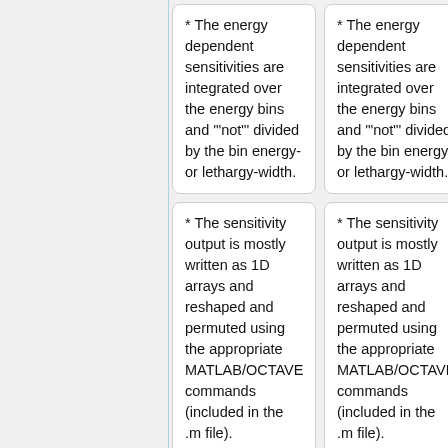* The energy dependent sensitivities are integrated over the energy bins and '"not"' divided by the bin energy- or lethargy-width.
* The energy dependent sensitivities are integrated over the energy bins and '"not"' divided by the bin energy- or lethargy-width.
* The sensitivity output is mostly written as 1D arrays and reshaped and permuted using the appropriate MATLAB/OCTAVE commands (included in the .m file).
* The sensitivity output is mostly written as 1D arrays and reshaped and permuted using the appropriate MATLAB/OCTAVE commands (included in the .m file).
* Perturbations